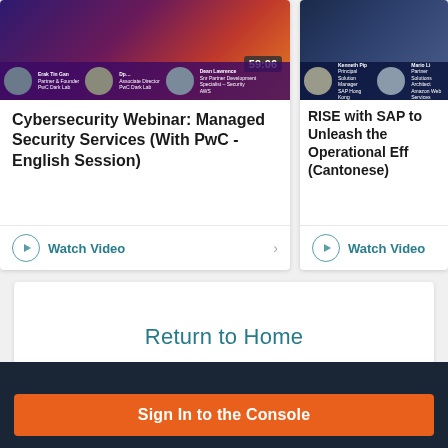[Figure (screenshot): Video thumbnail for Cybersecurity Webinar featuring speakers from PwC Dark Lab. Shows a purple/red gradient background with a webcam view of a speaker. Timer shows 59:06.]
Cybersecurity Webinar: Managed Security Services (With PwC - English Session)
Watch Video
[Figure (screenshot): Video thumbnail for RISE with SAP session (Cantonese). Shows a dark blue background with two speaker portraits labeled Kenneth Pip (Principal Solution Manager, SAP Hong Kong) and Mario Li (Partner Solutions Architect, Amazon Web Services).]
RISE with SAP to Unleash the Operational Eff (Cantonese)
Watch Video
Return to Home
Sign In to the Console